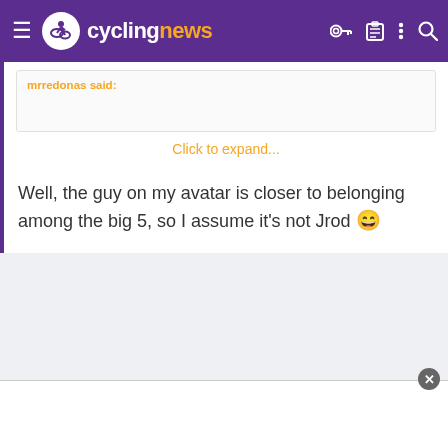cyclingnews
Click to expand...
Well, the guy on my avatar is closer to belonging among the big 5, so I assume it's not Jrod 😄